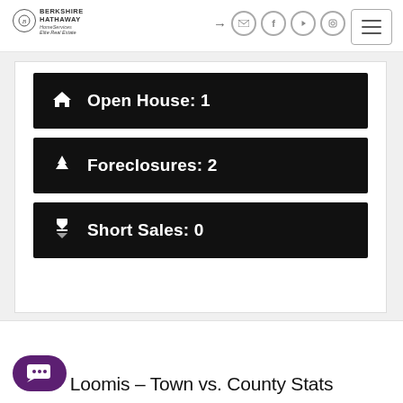Berkshire Hathaway HomeServices Elite Real Estate — navigation header
Open House: 1
Foreclosures: 2
Short Sales: 0
Loomis – Town vs. County Stats